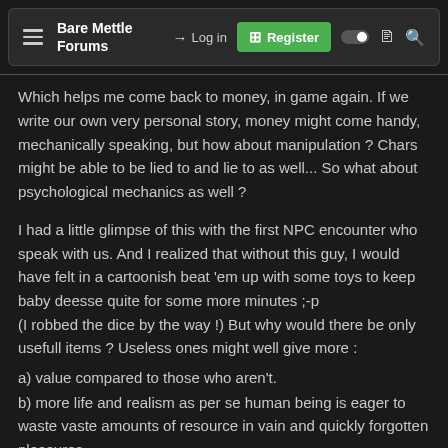Bare Mettle Forums | Log in | Register
Which helps me come back to money, in game again. If we write our own very personal story, money might come handy, mechanically speaking, but how about manipulation ? Chars might be able to be lied to and lie to as well... So what about psychological mechanics as well ?
I had a little glimpse of this with the first NPC encounter who speak with us. And I realized that without this guy, I would have felt in a cartoonish beat 'em up with some toys to keep baby deesse quite for some more minutes ;-p
(I robbed the dice by the way !) But why would there be only usefull items ? Useless ones might well give more :
a) value compared to those who aren't.
b) more life and realism as per se human being is eager to waste vaste amounts of resource in vain and quickly forgotten pleasures.
c) insight of game "true" physics motor (Really wish we might be allowed